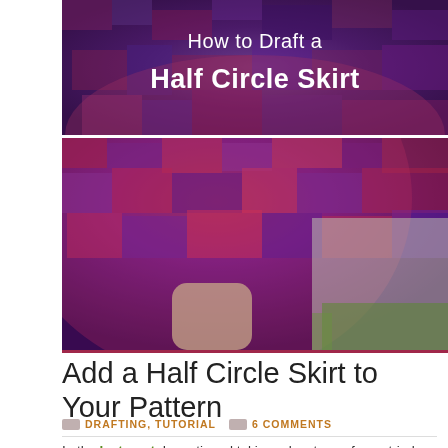[Figure (photo): Two-part hero image showing a colorful mosaic-patterned half circle skirt. Top portion has text overlay 'How to Draft a Half Circle Skirt' on a dark purple background with the skirt fabric. Bottom portion shows the skirt hem against a concrete and grass background.]
Add a Half Circle Skirt to Your Pattern
DRAFTING, TUTORIAL   6 COMMENTS
In the last post, I mentioned taking advantage of your tried